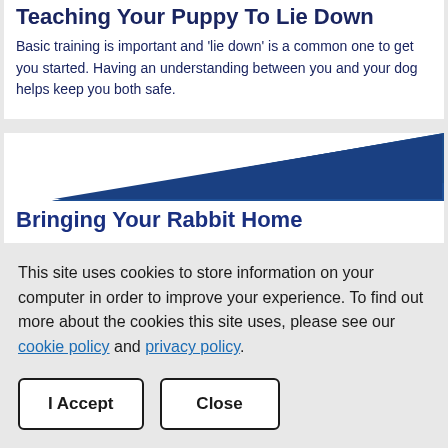Teaching Your Puppy To Lie Down
Basic training is important and 'lie down' is a common one to get you started. Having an understanding between you and your dog helps keep you both safe.
[Figure (illustration): Blue triangle decorative graphic element pointing right]
Bringing Your Rabbit Home
Making sure you have everything you need to get your
This site uses cookies to store information on your computer in order to improve your experience. To find out more about the cookies this site uses, please see our cookie policy and privacy policy.
I Accept
Close